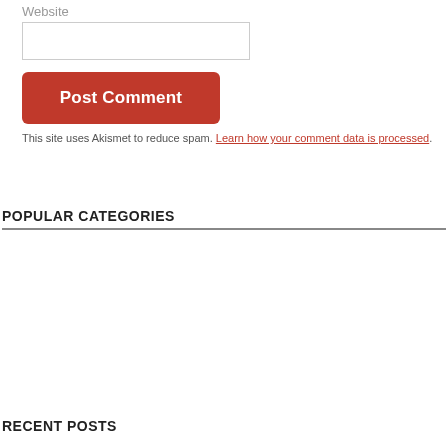Website
Post Comment
This site uses Akismet to reduce spam. Learn how your comment data is processed.
POPULAR CATEGORIES
| Blog Hops | Fitness |
| Interviews | Mindfulness and Meditation |
| Personal Life | Science Fiction and Fantasy |
| Suggestion Saturday | Uncategorised |
| Writing |  |
RECENT POSTS